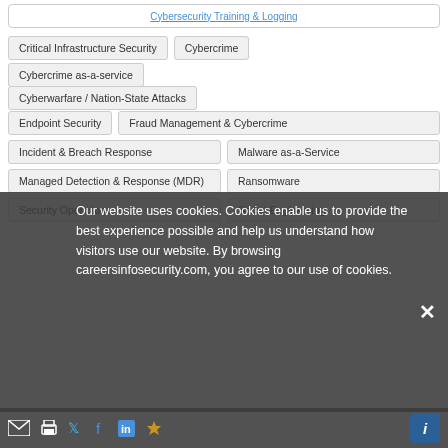Critical Infrastructure Security
Cybercrime
Cybercrime as-a-service
Cyberwarfare / Nation-State Attacks
Endpoint Security
Fraud Management & Cybercrime
Incident & Breach Response
Malware as-a-Service
Managed Detection & Response (MDR)
Ransomware
Security Operations
Social Engineering
Our website uses cookies. Cookies enable us to provide the best experience possible and help us understand how visitors use our website. By browsing careersinfosecurity.com, you agree to our use of cookies.